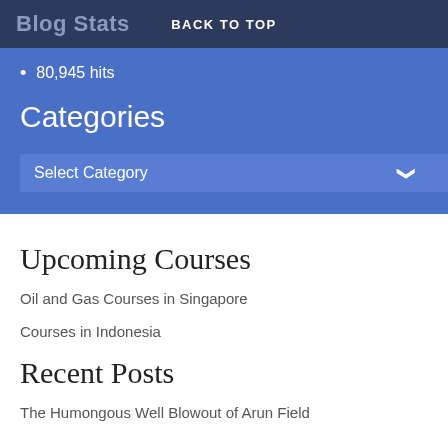Blog Stats   BACK TO TOP
80,945 hits
Categories
Select Category
Upcoming Courses
Oil and Gas Courses in Singapore
Courses in Indonesia
Recent Posts
The Humongous Well Blowout of Arun Field